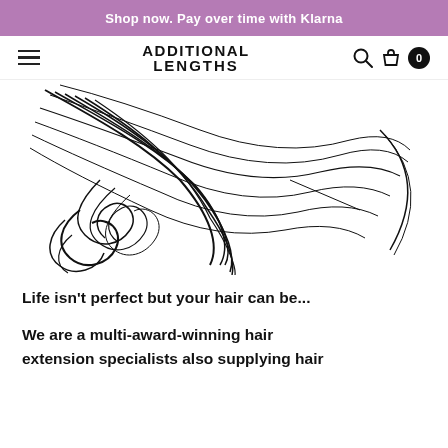Shop now. Pay over time with Klarna
[Figure (logo): Additional Lengths brand logo with hamburger menu, search icon, bag icon, and cart badge showing 0]
[Figure (illustration): Black and white line drawing of flowing hair extensions/waves, partially cropped]
Life isn't perfect but your hair can be...
We are a multi-award-winning hair extension specialists also supplying hair